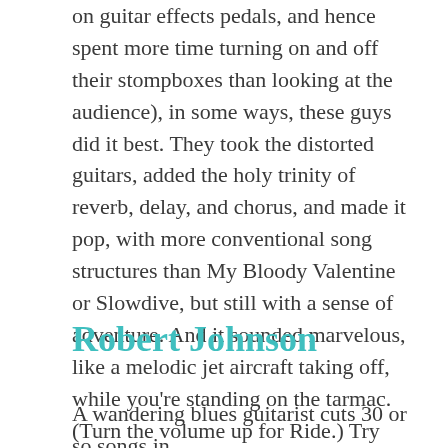on guitar effects pedals, and hence spent more time turning on and off their stompboxes than looking at the audience), in some ways, these guys did it best. They took the distorted guitars, added the holy trinity of reverb, delay, and chorus, and made it pop, with more conventional song structures than My Bloody Valentine or Slowdive, but still with a sense of adventure. And it sounded marvelous, like a melodic jet aircraft taking off, while you're standing on the tarmac. (Turn the volume up for Ride.) Try Nowhere. The cover image alone sums up shoegaze.
Robert Johnson
A wandering blues guitarist cuts 30 or so songs in